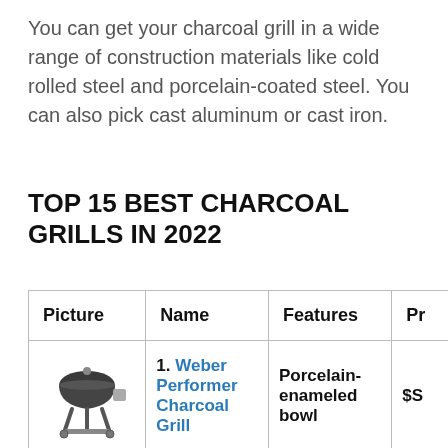You can get your charcoal grill in a wide range of construction materials like cold rolled steel and porcelain-coated steel. You can also pick cast aluminum or cast iron.
TOP 15 BEST CHARCOAL GRILLS IN 2022
| Picture | Name | Features | Pr |
| --- | --- | --- | --- |
| [grill image] | 1. Weber Performer Charcoal Grill | Porcelain-enameled bowl | $S |